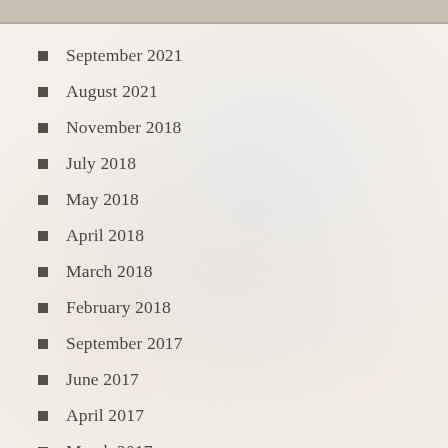September 2021
August 2021
November 2018
July 2018
May 2018
April 2018
March 2018
February 2018
September 2017
June 2017
April 2017
March 2017